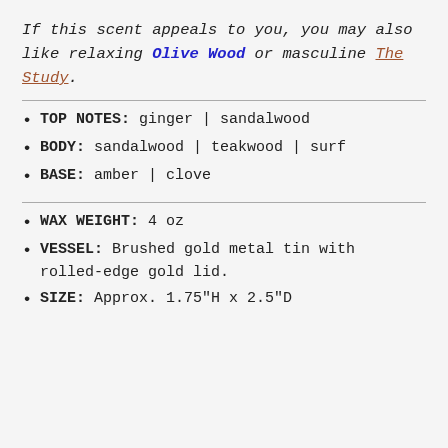If this scent appeals to you, you may also like relaxing Olive Wood or masculine The Study.
TOP NOTES: ginger | sandalwood
BODY: sandalwood | teakwood | surf
BASE: amber | clove
WAX WEIGHT: 4 oz
VESSEL: Brushed gold metal tin with rolled-edge gold lid.
SIZE: Approx. 1.75"H x 2.5"D